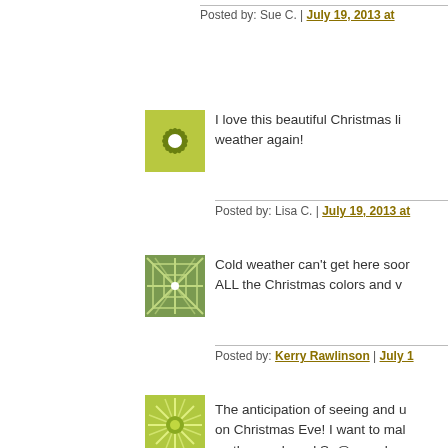Posted by: Sue C. | July 19, 2013 at...
[Figure (illustration): Green snowflake/flower decorative avatar image]
I love this beautiful Christmas li... weather again!
Posted by: Lisa C. | July 19, 2013 at...
[Figure (illustration): Green grid snowflake decorative avatar image]
Cold weather can't get here soon... ALL the Christmas colors and w...
Posted by: Kerry Rawlinson | July 1...
[Figure (illustration): Green sunburst decorative avatar image]
The anticipation of seeing and u... on Christmas Eve! I want to mal... so the numbered Sn@p cards se...
Posted by: Elisa | July 19, 2013 at 07...
[Figure (illustration): Pink/red decorative snowflake avatar image]
A bit scary to think of winter & ... Love the colours, so bright.
Posted by: Tammy Richard | July 19...